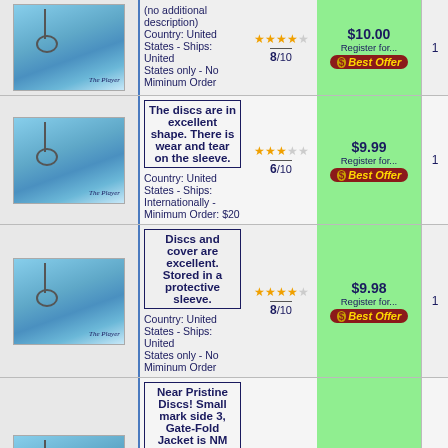| Image | Description | Rating | Price | Qty |
| --- | --- | --- | --- | --- |
| [album image] | (no additional description)
Country: United States - Ships: United States only - No Miminum Order | 8/10 | $10.00
Register for...
Best Offer | 1 |
| [album image] | The discs are in excellent shape. There is wear and tear on the sleeve.
Country: United States - Ships: Internationally - Minimum Order: $20 | 6/10 | $9.99
Register for...
Best Offer | 1 |
| [album image] | Discs and cover are excellent. Stored in a protective sleeve.
Country: United States - Ships: United States only - No Miminum Order | 8/10 | $9.98
Register for...
Best Offer | 1 |
| [album image] | Near Pristine Discs! Small mark side 3, Gate-Fold Jacket is NM Condition! ~ COMIC JUNGLE ~ $5.00 S&H in the USA will combine shipping with multiple purchases.
Country: United | 8/10 | $8.98 | 1 |